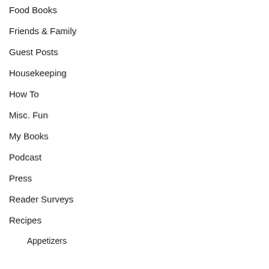Food Books
Friends & Family
Guest Posts
Housekeeping
How To
Misc. Fun
My Books
Podcast
Press
Reader Surveys
Recipes
Appetizers